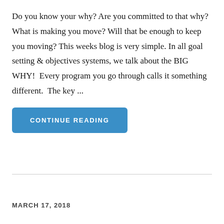Do you know your why? Are you committed to that why? What is making you move? Will that be enough to keep you moving? This weeks blog is very simple. In all goal setting & objectives systems, we talk about the BIG WHY!  Every program you go through calls it something different.  The key ...
CONTINUE READING
MARCH 17, 2018